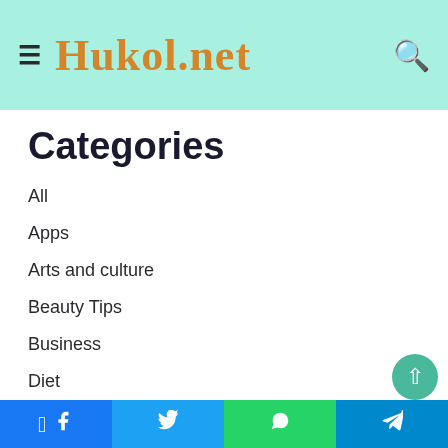Hukol.net
Categories
All
Apps
Arts and culture
Beauty Tips
Business
Diet
Digital Marketing
Education
Entertainment
Environment
Facebook | Twitter | WhatsApp | Telegram